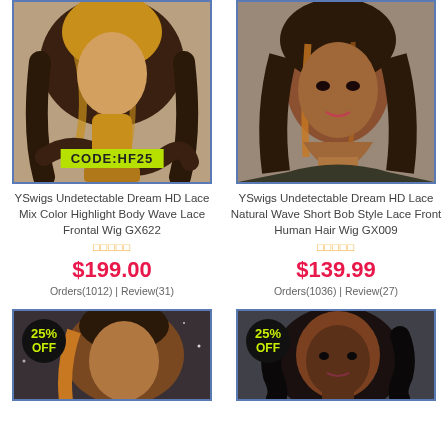[Figure (photo): Product photo of highlight body wave lace frontal wig with CODE:HF25 badge]
YSwigs Undetectable Dream HD Lace Mix Color Highlight Body Wave Lace Frontal Wig GX622
★★★★★
$199.00
Orders(1012) | Review(31)
[Figure (photo): Product photo of natural wave short bob style lace front human hair wig]
YSwigs Undetectable Dream HD Lace Natural Wave Short Bob Style Lace Front Human Hair Wig GX009
★★★★★
$139.99
Orders(1036) | Review(27)
[Figure (photo): Product photo with 25% OFF badge, highlight wig on woman]
[Figure (photo): Product photo with 25% OFF badge, dark curly wig on woman]